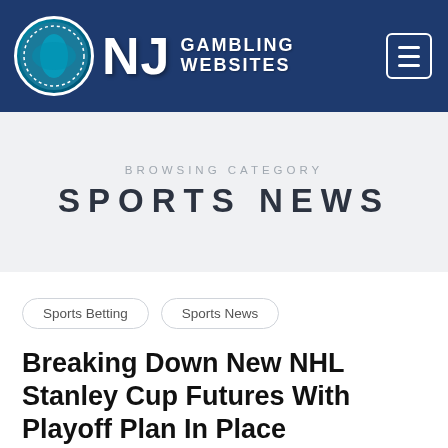NJ GAMBLING WEBSITES
BROWSING CATEGORY
SPORTS NEWS
Sports Betting
Sports News
Breaking Down New NHL Stanley Cup Futures With Playoff Plan In Place